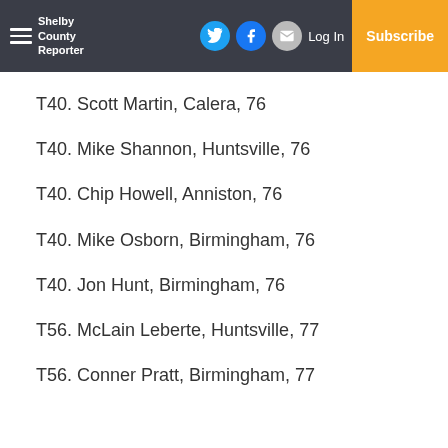Shelby County Reporter | Log In | Subscribe
T40. Scott Martin, Calera, 76
T40. Mike Shannon, Huntsville, 76
T40. Chip Howell, Anniston, 76
T40. Mike Osborn, Birmingham, 76
T40. Jon Hunt, Birmingham, 76
T56. McLain Leberte, Huntsville, 77
T56. Conner Pratt, Birmingham, 77